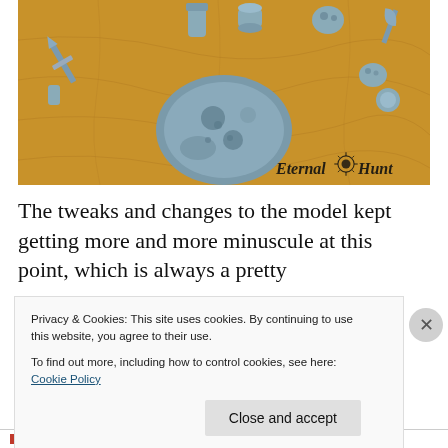[Figure (photo): Gray plastic miniature parts (weapons, heads, body pieces) laid out on a tan/brown fantasy map background. Watermark text reads 'Eternal Hunt' with a sun/star logo in bottom right of photo.]
The tweaks and changes to the model kept getting more and more minuscule at this point, which is always a pretty
Privacy & Cookies: This site uses cookies. By continuing to use this website, you agree to their use.
To find out more, including how to control cookies, see here: Cookie Policy
Close and accept